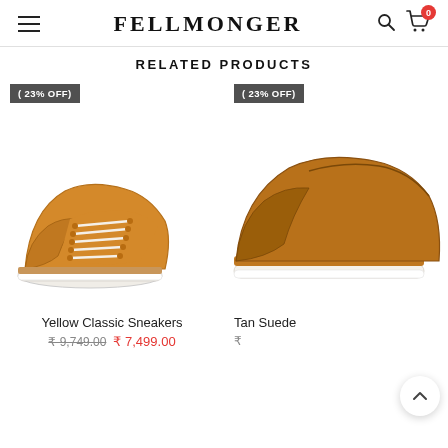FELLMONGER
RELATED PRODUCTS
[Figure (photo): Yellow classic leather sneakers with white sole and cream laces, shown as a pair, with a ( 23% OFF) badge.]
Yellow Classic Sneakers
₹ 9,749.00  ₹ 7,499.00
[Figure (photo): Tan suede dress shoe (partially visible, cropped at right edge), with a ( 23% OFF) badge.]
Tan Suede
₹